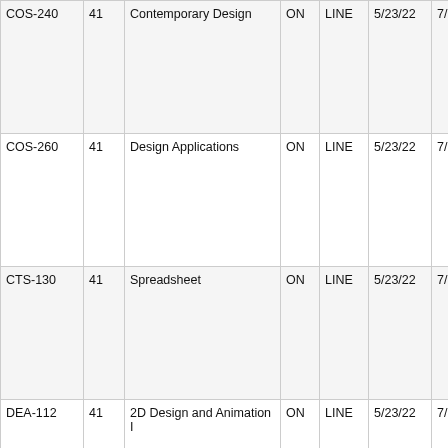| Course | Sec | Title | On/Off | Type | Start | End | Days/Notes |
| --- | --- | --- | --- | --- | --- | --- | --- |
| COS-240 | 41 | Contemporary Design | ON | LINE | 5/23/22 | 7/25/22 | M T W T F S S |
| COS-260 | 41 | Design Applications | ON | LINE | 5/23/22 | 7/25/22 | M T W T F S S |
| CTS-130 | 41 | Spreadsheet | ON | LINE | 5/23/22 | 7/25/22 | M T W T F S S |
| DEA-112 | 41 | 2D Design and Animation I | ON | LINE | 5/23/22 | 7/25/22 | M T W T F |